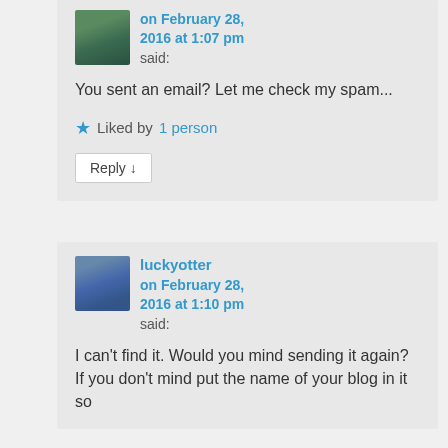on February 28, 2016 at 1:07 pm said:
You sent an email? Let me check my spam...
Liked by 1 person
Reply ↓
luckyotter on February 28, 2016 at 1:10 pm said:
I can't find it. Would you mind sending it again? If you don't mind put the name of your blog in it so